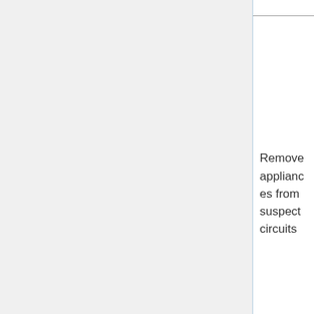|  | Action | Description |
| --- | --- | --- |
|  |  | from reoccurring. |
|  | Remove appliances from suspect circuits | Disconnecting appliances from suspect circuits can let you identify if the fault is in an appliance (the most common situation) or the circuits fixed wiring. If you still get trips with everything disconnected then you may have a wiring fault.

If it looks like appliances are to blame, you can apply the "binary chop" principle to narrow down the field quickly - i.e. unplug half of them and see what happens. If it still trips you know in which half the dodgy appliance probably is. The carry on in the same way, halving the list of remaining suspects, until you get close to the answer. (This method is... |